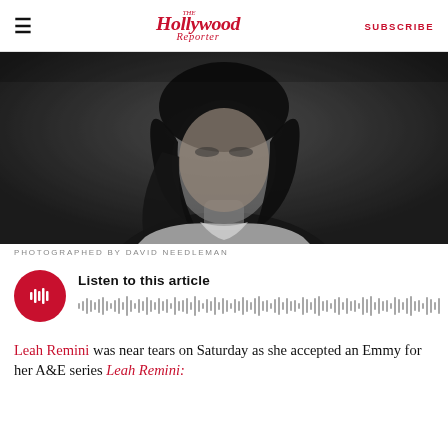The Hollywood Reporter | SUBSCRIBE
[Figure (photo): Black and white portrait photo of Leah Remini with long wavy dark hair, wearing a white top, photographed against a dark background]
PHOTOGRAPHED BY DAVID NEEDLEMAN
[Figure (infographic): Audio player with red circular play button and audio waveform visualization with label 'Listen to this article']
Leah Remini was near tears on Saturday as she accepted an Emmy for her A&E series Leah Remini: